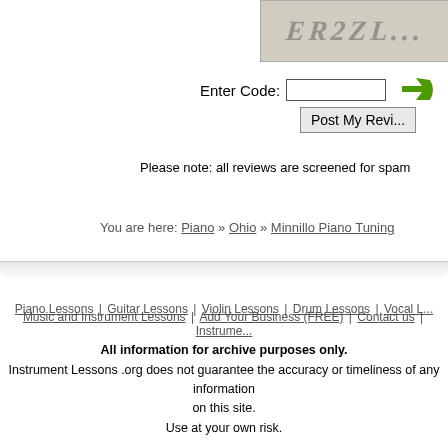[Figure (other): CAPTCHA image with distorted text]
Enter Code:
Please note: all reviews are screened for spam
You are here: Piano » Ohio » Minnillo Piano Tuning
Piano Lessons | Guitar Lessons | Violin Lessons | Drum Lessons | Vocal L...
Music and Instrument Lessons | Add Your Business (FREE) | Contact us | Instrume...
All information for archive purposes only.
Instrument Lessons .org does not guarantee the accuracy or timeliness of any information on this site.
Use at your own risk.